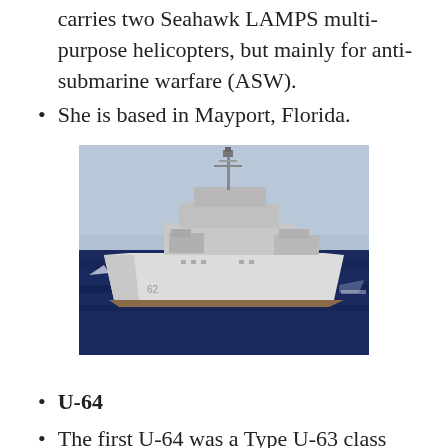carries two Seahawk LAMPS multi-purpose helicopters, but mainly for anti-submarine warfare (ASW).
She is based in Mayport, Florida.
[Figure (photo): A U.S. Navy warship (Ticonderoga-class cruiser) sailing at sea under a light blue hazy sky. The ship is white-hulled, seen from the port side, with complex superstructure and radar equipment visible.]
U-64
The first U-64 was a Type U-63 class